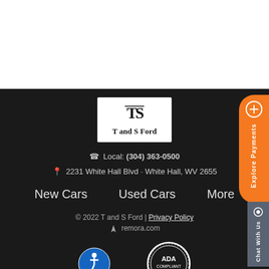[Figure (logo): T and S Ford dealership logo with TS monogram emblem inside a white box]
Local: (304) 363-0500
2231 White Hall Blvd · White Hall, WV 2655
New Cars   Used Cars   More
© 2022 T and S Ford | Privacy Policy
remora.com
[Figure (logo): Accessibility icon — blue circle with wheelchair user symbol]
[Figure (logo): ADA Compliant badge — circular seal reading Americans with Disabilities Act Compliant]
Alerts   Save   Compare 0   Login